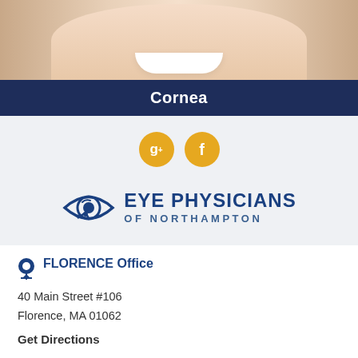[Figure (photo): Close-up photo of a smiling woman, cropped to show lower face and teeth, with a cheerful expression]
Cornea
[Figure (logo): Social media icons: Google+ and Facebook circular gold buttons]
[Figure (logo): Eye Physicians of Northampton logo with stylized eye graphic and blue text]
FLORENCE Office
40 Main Street #106
Florence, MA 01062
Get Directions
Monday thru Friday: 8AM – 5PM
Closed Saturdays & Sundays
Emergency visits by appointment only